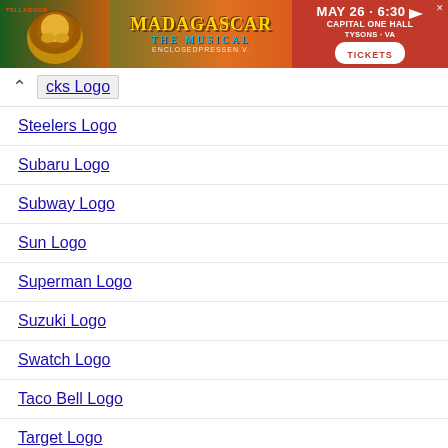[Figure (screenshot): Advertisement banner for Madagascar The Musical showing date MAY 26 - 6:30 PM at Capital One Hall, Tysons VA with TICKETS button]
cks Logo
Steelers Logo
Subaru Logo
Subway Logo
Sun Logo
Superman Logo
Suzuki Logo
Swatch Logo
Taco Bell Logo
Target Logo
Tata Logo